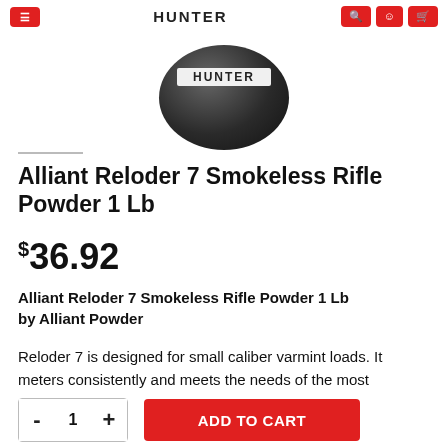HUNTER
[Figure (photo): Black round canister product (Alliant Reloder 7 smokeless rifle powder) shown from top, with 'HUNTER' label visible on packaging.]
Alliant Reloder 7 Smokeless Rifle Powder 1 Lb
$36.92
Alliant Reloder 7 Smokeless Rifle Powder 1 Lb
by Alliant Powder
Reloder 7 is designed for small caliber varmint loads. It meters consistently and meets the needs of the most demanding bench rest shooter. Great in .45-70 and .450 Marlin.